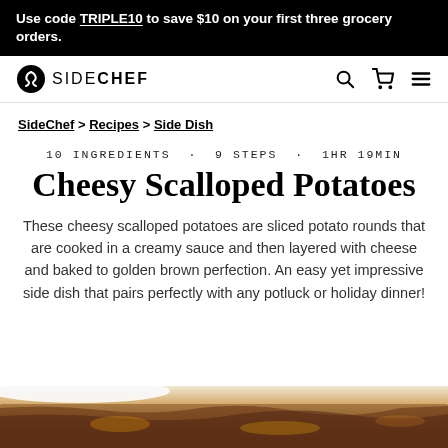Use code TRIPLE10 to save $10 on your first three grocery orders.
[Figure (logo): SideChef logo with navigation icons (search, cart, hamburger menu)]
SideChef > Recipes > Side Dish
10 INGREDIENTS · 9 STEPS · 1HR 19MIN
Cheesy Scalloped Potatoes
These cheesy scalloped potatoes are sliced potato rounds that are cooked in a creamy sauce and then layered with cheese and baked to golden brown perfection. An easy yet impressive side dish that pairs perfectly with any potluck or holiday dinner!
[Figure (photo): Close-up photo of cheesy scalloped potatoes in a baking dish, partially visible at bottom of page]